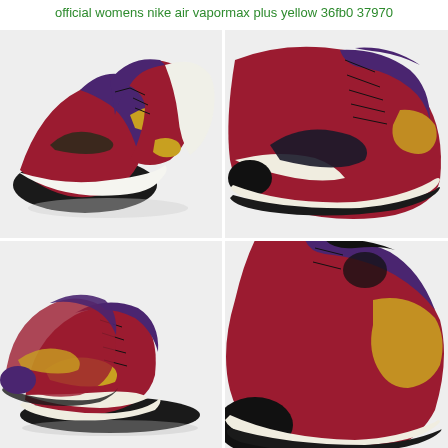official womens nike air vapormax plus yellow 36fb0 37970
[Figure (photo): Two Nike Air Jordan 1 sneakers in red, purple, white, gold and black colorway, photographed from above on a light grey background — a pair showing both shoes together]
[Figure (photo): Close-up side view of a single Nike Air Jordan 1 sneaker in red, purple, white, gold and black colorway on a light grey background]
[Figure (photo): Two Nike Air Jordan 1 sneakers in red, purple, white, gold and black colorway photographed from a lower angle, showing the pair together with one shoe on its side]
[Figure (photo): Partial close-up of a Nike Air Jordan 1 sneaker heel/tongue detail in black, gold and purple colorway on a light grey background]